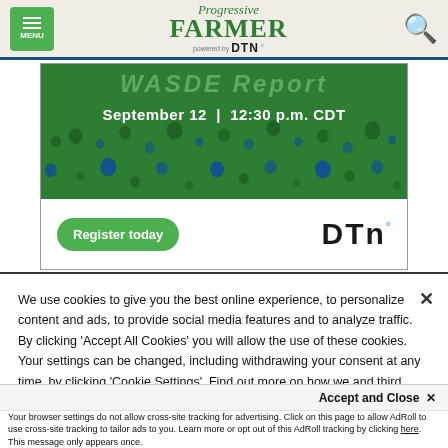MENU | Progressive Farmer powered by DTN
[Figure (screenshot): DTN advertisement banner showing 'September 12 | 12:30 p.m. CDT' with Register today button and DTN logo on green background with dot pattern]
We use cookies to give you the best online experience, to personalize content and ads, to provide social media features and to analyze traffic. By clicking 'Accept All Cookies' you will allow the use of these cookies. Your settings can be changed, including withdrawing your consent at any time, by clicking 'Cookie Settings'. Find out more on how we and third parties use cookies in our Cookie Policy
Accept and Close ×
Your browser settings do not allow cross-site tracking for advertising. Click on this page to allow AdRoll to use cross-site tracking to tailor ads to you. Learn more or opt out of this AdRoll tracking by clicking here. This message only appears once.